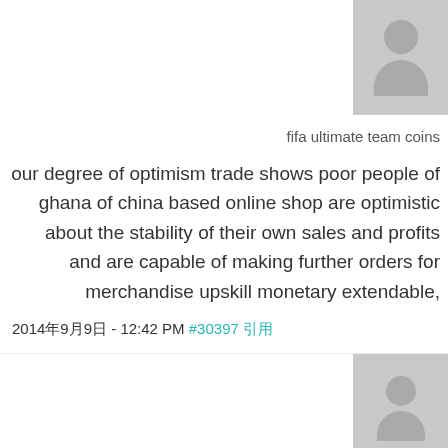[Figure (illustration): Default user avatar (grey silhouette) for user 'fifa ultimate team coins']
fifa ultimate team coins
our degree of optimism trade shows poor people of ghana of china based online shop are optimistic about the stability of their own sales and profits and are capable of making further orders for merchandise upskill monetary extendable,
2014年9月9日 - 12:42 PM #30397 引用
[Figure (illustration): Default user avatar (grey silhouette) for user 'fut 14 coins']
fut 14 coins
as opposed to the desired thin trend, their own...